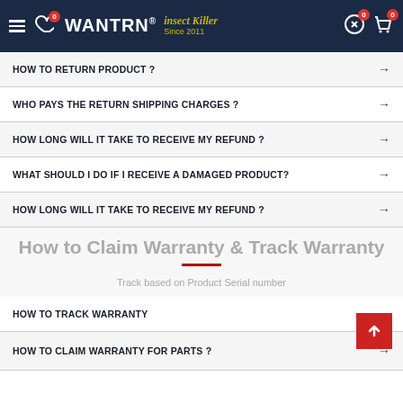[Figure (screenshot): WANTRN Insect Killer website header with logo, navigation icons, and badge counters showing 0]
HOW TO RETURN PRODUCT ?
WHO PAYS THE RETURN SHIPPING CHARGES ?
HOW LONG WILL IT TAKE TO RECEIVE MY REFUND ?
WHAT SHOULD I DO IF I RECEIVE A DAMAGED PRODUCT?
HOW LONG WILL IT TAKE TO RECEIVE MY REFUND ?
How to Claim Warranty & Track Warranty
Track based on Product Serial number
HOW TO TRACK WARRANTY
HOW TO CLAIM WARRANTY FOR PARTS ?